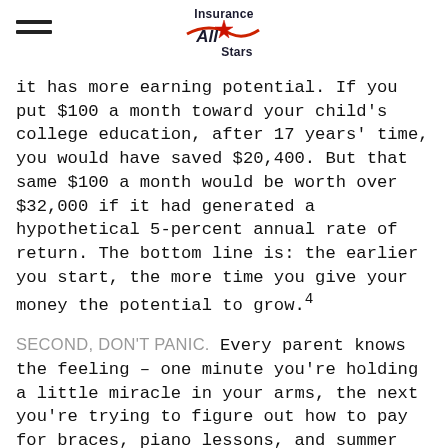Insurance All Stars logo with hamburger menu
it has more earning potential. If you put $100 a month toward your child's college education, after 17 years' time, you would have saved $20,400. But that same $100 a month would be worth over $32,000 if it had generated a hypothetical 5-percent annual rate of return. The bottom line is: the earlier you start, the more time you give your money the potential to grow.4
SECOND, DON'T PANIC. Every parent knows the feeling – one minute you're holding a little miracle in your arms, the next you're trying to figure out how to pay for braces, piano lessons, and summer camp. You may feel like saving for college is a pipe dream. But remember, many people get some sort of help in the form of financial aid and scholarships. Although it's difficult to forecast how much help your